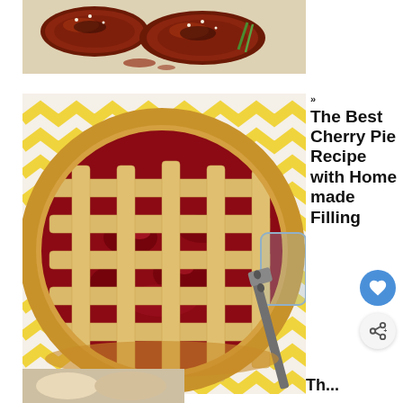[Figure (photo): Overhead shot of glazed BBQ chicken pieces with sesame seeds and green onion on a light surface]
[Figure (photo): Cherry pie with lattice crust in a glass pie dish, sitting on a yellow chevron napkin with a serving spatula, cherry filling visible]
» The Best Cherry Pie Recipe with Homemade Filling
[Figure (photo): Partial view of another food photo at the bottom left]
Th...